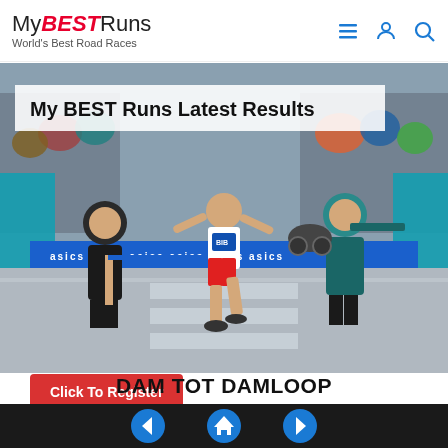MyBESTRuns — World's Best Road Races
[Figure (photo): A runner in red shorts crosses a finish line with an ASICS banner at a road race finish in rainy conditions, crowd visible on both sides, motorcycle escort visible in background.]
My BEST Runs Latest Results
Click To Register
DAM TOT DAMLOOP
Both the competition and the fitness run will once again cover a 10 Mile (16.09 km) route.On leaving the tunnel, runners will continue across the motorway and take the
Navigation: Previous | Home | Next